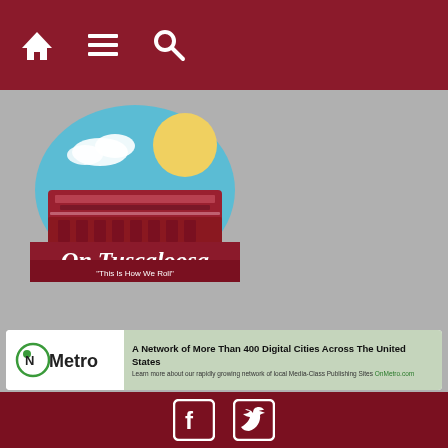Navigation bar with home, menu, and search icons
[Figure (logo): On Tuscaloosa logo — illustrated stadium with blue sky and yellow sun, red banner reading 'On Tuscaloosa' in white script, tagline 'This Is How We Roll']
[Figure (infographic): ONMetro banner ad: ONMetro logo on white left side, green-tinted background with text 'A Network of More Than 400 Digital Cities Across The United States. Learn more about our rapidly growing network of local Media-Class Publishing Sites OnMetro.com']
Home » Articles » Entertainment » Experience Coachella From the Comfort of Home
Social icons: Facebook and Twitter